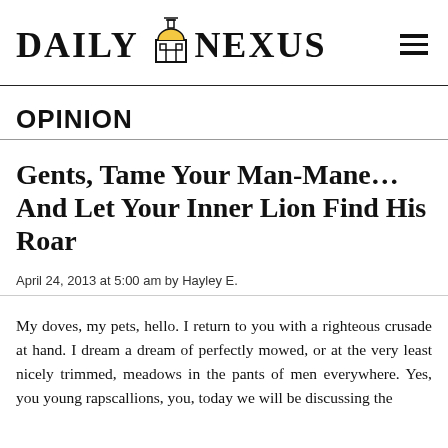DAILY NEXUS
OPINION
Gents, Tame Your Man-Mane... And Let Your Inner Lion Find His Roar
April 24, 2013 at 5:00 am by Hayley E.
My doves, my pets, hello. I return to you with a righteous crusade at hand. I dream a dream of perfectly mowed, or at the very least nicely trimmed, meadows in the pants of men everywhere. Yes, you young rapscallions, you, today we will be discussing the